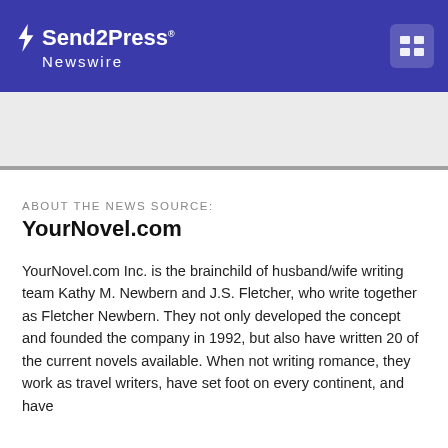Send2Press Newswire
ABOUT THE NEWS SOURCE:
YourNovel.com
YourNovel.com Inc. is the brainchild of husband/wife writing team Kathy M. Newbern and J.S. Fletcher, who write together as Fletcher Newbern. They not only developed the concept and founded the company in 1992, but also have written 20 of the current novels available. When not writing romance, they work as travel writers, have set foot on every continent, and have